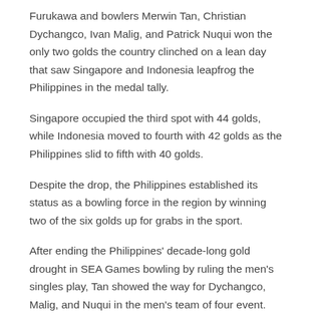Furukawa and bowlers Merwin Tan, Christian Dychangco, Ivan Malig, and Patrick Nuqui won the only two golds the country clinched on a lean day that saw Singapore and Indonesia leapfrog the Philippines in the medal tally.
Singapore occupied the third spot with 44 golds, while Indonesia moved to fourth with 42 golds as the Philippines slid to fifth with 40 golds.
Despite the drop, the Philippines established its status as a bowling force in the region by winning two of the six golds up for grabs in the sport.
After ending the Philippines' decade-long gold drought in SEA Games bowling by ruling the men's singles play, Tan showed the way for Dychangco, Malig, and Nuqui in the men's team of four event.